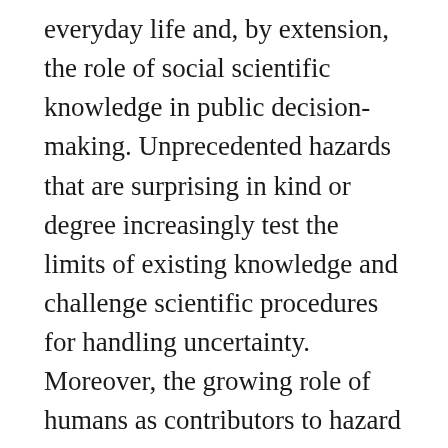everyday life and, by extension, the role of social scientific knowledge in public decision-making. Unprecedented hazards that are surprising in kind or degree increasingly test the limits of existing knowledge and challenge scientific procedures for handling uncertainty. Moreover, the growing role of humans as contributors to hazard has given more laypersons a stake in decisions about hazard that were formerly the preserve of experts. In addition, not only are laypersons increasingly privy to specialized scientific information via the Internet and other electronic dissemination channels, but they have become important producers of experiential information about hazards though the